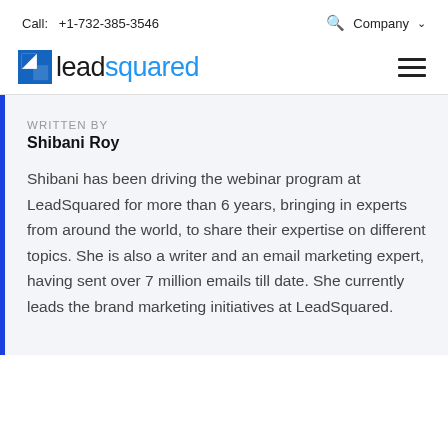Call: +1-732-385-3546  🔍  Company ∨
[Figure (logo): LeadSquared logo with blue square icon and text 'leadsquared' in black and blue]
WRITTEN BY
Shibani Roy
Shibani has been driving the webinar program at LeadSquared for more than 6 years, bringing in experts from around the world, to share their expertise on different topics. She is also a writer and an email marketing expert, having sent over 7 million emails till date. She currently leads the brand marketing initiatives at LeadSquared.